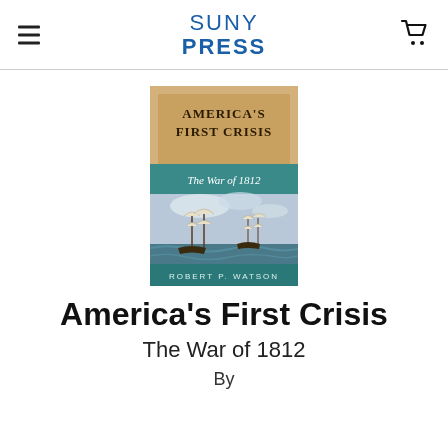SUNY PRESS
[Figure (illustration): Book cover of 'America's First Crisis: The War of 1812' by Robert P. Watson, featuring a painting of two tall sailing ships at sea with rough waves and cloudy sky. The cover has gold and teal color scheme with serif typography.]
America's First Crisis
The War of 1812
By